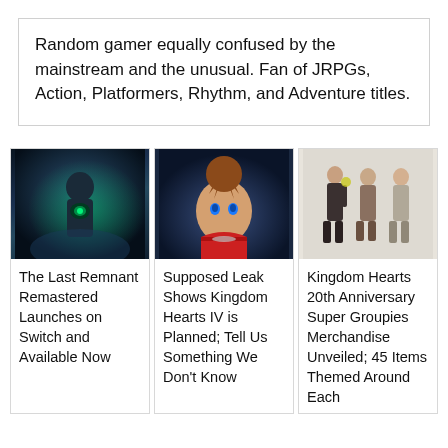Random gamer equally confused by the mainstream and the unusual. Fan of JRPGs, Action, Platformers, Rhythm, and Adventure titles.
[Figure (photo): Dark fantasy game character with glowing green armor in a misty environment]
[Figure (photo): Kingdom Hearts character Sora with spiky brown hair and blue eyes]
[Figure (illustration): Three Kingdom Hearts characters standing together in character art style]
The Last Remnant Remastered Launches on Switch and Available Now
Supposed Leak Shows Kingdom Hearts IV is Planned; Tell Us Something We Don't Know
Kingdom Hearts 20th Anniversary Super Groupies Merchandise Unveiled; 45 Items Themed Around Each